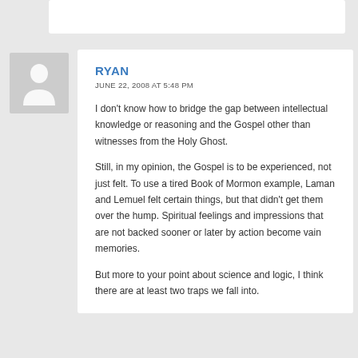[Figure (illustration): User avatar placeholder image — grey square with a white silhouette person icon]
RYAN
JUNE 22, 2008 AT 5:48 PM
I don't know how to bridge the gap between intellectual knowledge or reasoning and the Gospel other than witnesses from the Holy Ghost.
Still, in my opinion, the Gospel is to be experienced, not just felt. To use a tired Book of Mormon example, Laman and Lemuel felt certain things, but that didn't get them over the hump. Spiritual feelings and impressions that are not backed sooner or later by action become vain memories.
But more to your point about science and logic, I think there are at least two traps we fall into.